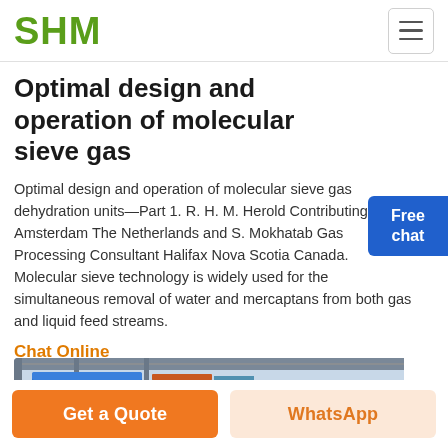SHM
Optimal design and operation of molecular sieve gas
Optimal design and operation of molecular sieve gas dehydration units—Part 1. R. H. M. Herold Contributing Writer Amsterdam The Netherlands and S. Mokhatab Gas Processing Consultant Halifax Nova Scotia Canada. Molecular sieve technology is widely used for the simultaneous removal of water and mercaptans from both gas and liquid feed streams.
Chat Online
[Figure (photo): Industrial blue machinery equipment in a facility]
Get a Quote | WhatsApp